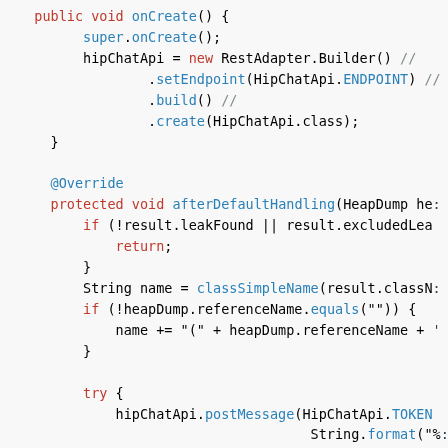[Figure (screenshot): Java source code snippet showing onCreate() method building a RestAdapter for HipChatApi, and afterDefaultHandling() method with leak detection logic, string formatting, try/catch block posting a message via hipChatApi and logging errors.]